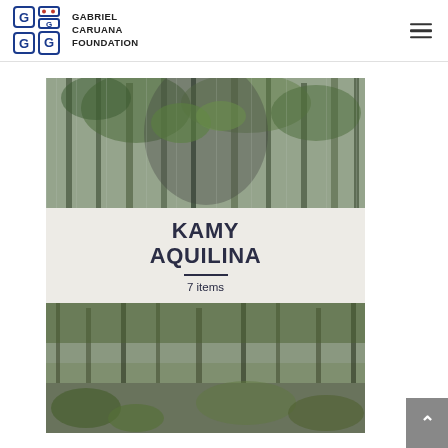Gabriel Caruana Foundation
[Figure (photo): Double-exposure artistic photograph showing a figure merged with a forest of tall trees, green foliage visible through the silhouette]
KAMY AQUILINA
7 items
[Figure (photo): Partial view of another double-exposure nature photograph with forest and ground vegetation]